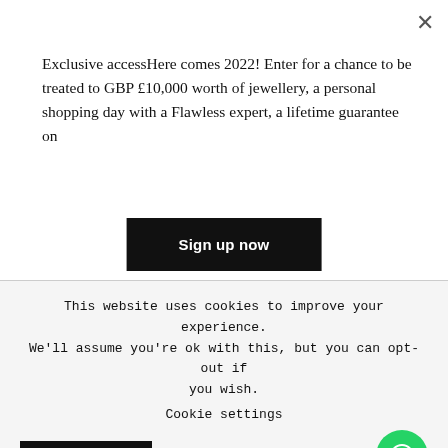Exclusive accessHere comes 2022! Enter for a chance to be treated to GBP £10,000 worth of jewellery, a personal shopping day with a Flawless expert, a lifetime guarantee on
Sign up now
expensive?
Again, they absolutely are less expensive than mined diamonds.
This website uses cookies to improve your experience. We'll assume you're ok with this, but you can opt-out if you wish.
Cookie settings
ACCEPT